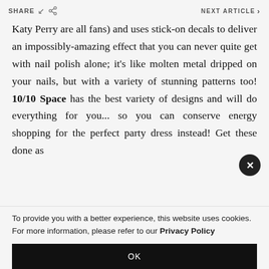SHARE  NEXT ARTICLE >
Katy Perry are all fans) and uses stick-on decals to deliver an impossibly-amazing effect that you can never quite get with nail polish alone; it's like molten metal dripped on your nails, but with a variety of stunning patterns too! 10/10 Space has the best variety of designs and will do everything for you... so you can conserve energy shopping for the perfect party dress instead! Get these done as
To provide you with a better experience, this website uses cookies. For more information, please refer to our Privacy Policy
OK